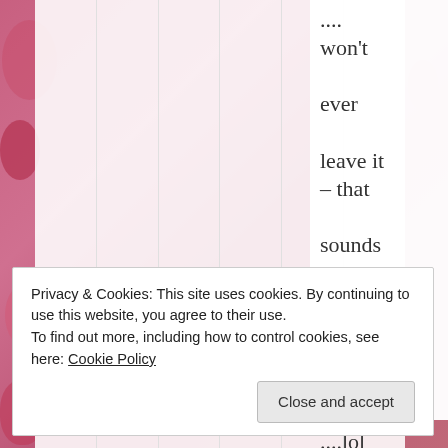[Figure (photo): Pink floral background with white vertical column stripes overlay on the left portion of the page]
.... won't ever leave it – that sounds like a cheezy ad on tv ....lol .......................... Have a beautiful good
Privacy & Cookies: This site uses cookies. By continuing to use this website, you agree to their use. To find out more, including how to control cookies, see here: Cookie Policy
Close and accept